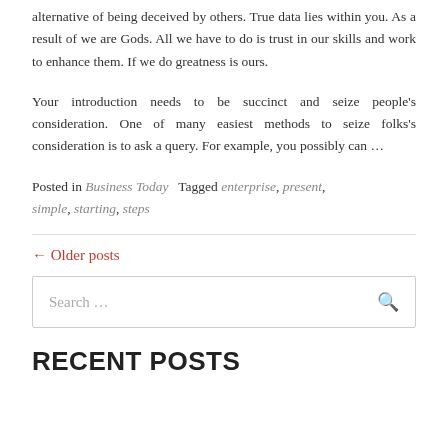alternative of being deceived by others. True data lies within you. As a result of we are Gods. All we have to do is trust in our skills and work to enhance them. If we do greatness is ours.
Your introduction needs to be succinct and seize people's consideration. One of many easiest methods to seize folks's consideration is to ask a query. For example, you possibly can …
Posted in Business Today  Tagged enterprise, present, simple, starting, steps
← Older posts
Search …
RECENT POSTS